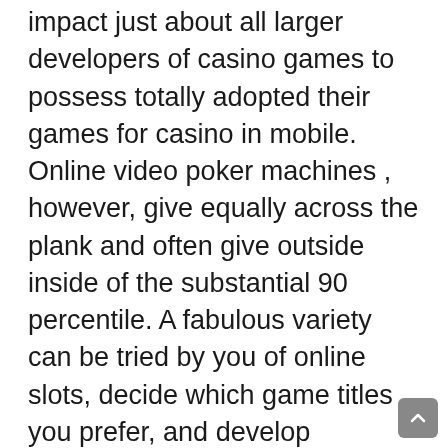impact just about all larger developers of casino games to possess totally adopted their games for casino in mobile. Online video poker machines , however, give equally across the plank and often give outside inside of the substantial 90 percentile. A fabulous variety can be tried by you of online slots, decide which game titles you prefer, and develop preferences and strategies without risking any income. If presently there is zero such area, ask yourself if you are taking part in on a reliable gaming web site.
There are a lot of reputable online pg slot games avallable in the internet and konstandinos.blogactiv.eu choosing almost any one from them will increase your chances of winning such